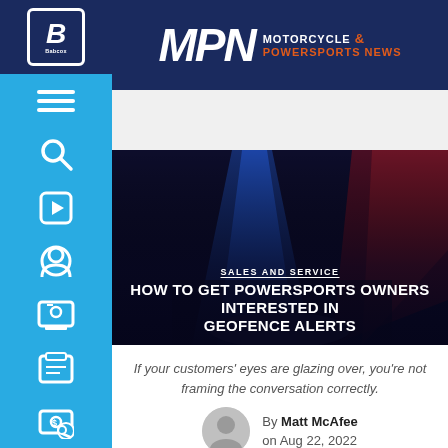[Figure (logo): Babcox B logo in blue square on dark navy background]
[Figure (logo): MPN Motorcycle & Powersports News logo in white and orange on navy background]
[Figure (photo): Dark cinematic hero image with blue and red lighting, hands in foreground, with article title overlay: SALES AND SERVICE / HOW TO GET POWERSPORTS OWNERS INTERESTED IN GEOFENCE ALERTS]
SALES AND SERVICE
HOW TO GET POWERSPORTS OWNERS INTERESTED IN GEOFENCE ALERTS
If your customers' eyes are glazing over, you're not framing the conversation correctly.
By Matt McAfee on Aug 22, 2022